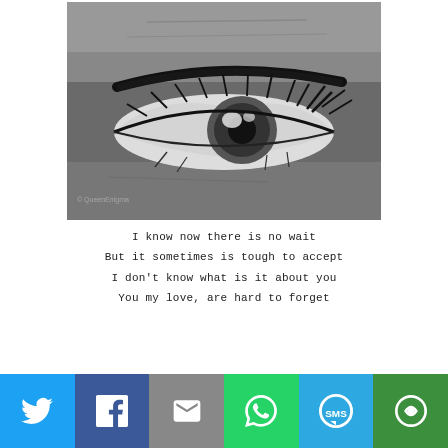[Figure (photo): Close-up black and white photograph of a human eye with dramatic eyelashes and visible iris reflection. Watermark reads @QueenEnigma in bottom left corner.]
I know now there is no wait
But it sometimes is tough to accept
I don't know what is it about you
You my love, are hard to forget
[Figure (infographic): Social sharing bar with six buttons: Twitter (blue bird icon), Facebook (dark blue f icon), Email (grey envelope icon), WhatsApp (green phone icon), SMS (blue SMS bubble icon), More/Share (green circular arrow icon)]